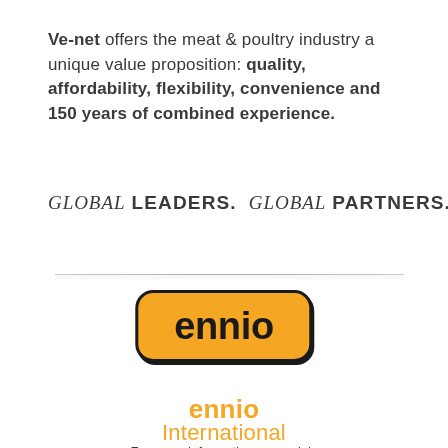Ve-net offers the meat & poultry industry a unique value proposition: quality, affordability, flexibility, convenience and 150 years of combined experience.
GLOBAL LEADERS. GLOBAL PARTNERS.
[Figure (logo): ennio logo: orange rounded rectangle badge with black border and bold black text 'ennio']
ennio International
For more information on ennio's